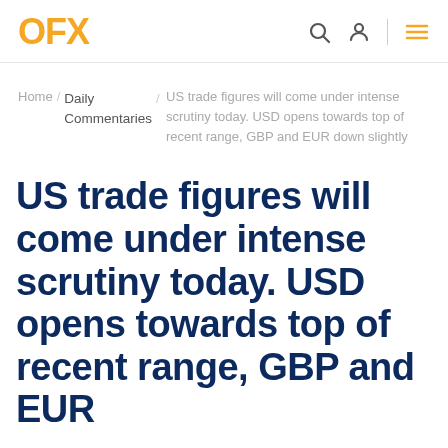OFX
Home / Daily Commentaries / US trade figures will come under intense scrutiny today. USD opens towards top of recent range, GBP and EUR down slightly
US trade figures will come under intense scrutiny today. USD opens towards top of recent range, GBP and EUR down slightly